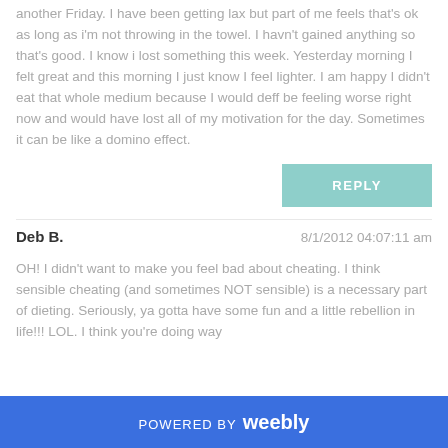another Friday. I have been getting lax but part of me feels that's ok as long as i'm not throwing in the towel. I havn't gained anything so that's good. I know i lost something this week. Yesterday morning I felt great and this morning I just know I feel lighter. I am happy I didn't eat that whole medium because I would deff be feeling worse right now and would have lost all of my motivation for the day. Sometimes it can be like a domino effect.
REPLY
Deb B.    8/1/2012 04:07:11 am
OH! I didn't want to make you feel bad about cheating. I think sensible cheating (and sometimes NOT sensible) is a necessary part of dieting. Seriously, ya gotta have some fun and a little rebellion in life!!! LOL. I think you're doing way
POWERED BY weebly